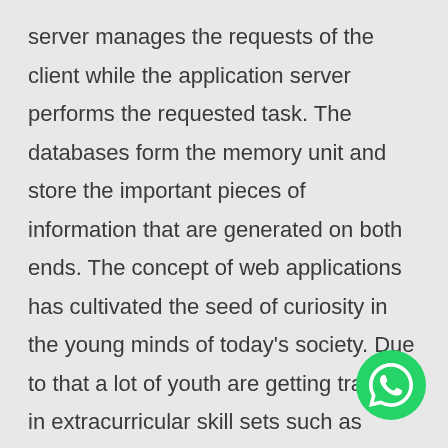server manages the requests of the client while the application server performs the requested task. The databases form the memory unit and store the important pieces of information that are generated on both ends. The concept of web applications has cultivated the seed of curiosity in the young minds of today's society. Due to that a lot of youth are getting trained in extracurricular skill sets such as coding. A good understanding of codes and their uses is essential while developing web applications. That is so because of the complex mechanism of the web applications and the tasks they perform. Enthusiastic coders who seek greater knowledge take part in different coding sessions to quench their thirst. There
[Figure (illustration): WhatsApp contact button — green circle with white WhatsApp phone handset logo]